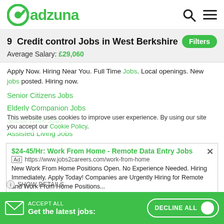[Figure (logo): Adzuna logo with green circular icon and green text]
9  Credit control Jobs in West Berkshire
Average Salary: £29,060
Apply Now. Hiring Near You. Full Time Jobs. Local openings. New jobs posted. Hiring now.
Senior Citizens Jobs
Elderly Companion Jobs
Social Work Jobs
Assisted Living Jobs
$24-45/Hr: Work From Home - Remote Data Entry Jobs
Ad https://www.jobs2careers.com/work-from-home
New Work From Home Positions Open. No Experience Needed. Hiring Immediately. Apply Today! Companies are Urgently Hiring for Remote and Work From Home Positions...
This website uses cookies to improve user experience. By using our site you accept our Cookie Policy.
Get the latest jobs:
ACCEPT ALL
DECLINE ALL